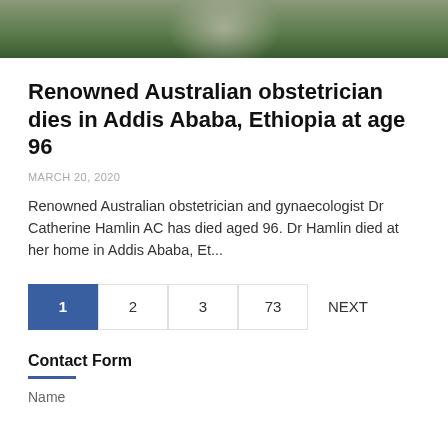[Figure (photo): Partial photo of a person outdoors with green foliage background, cropped at top]
Renowned Australian obstetrician dies in Addis Ababa, Ethiopia at age 96
MARCH 20, 2020
Renowned Australian obstetrician and gynaecologist Dr Catherine Hamlin AC has died aged 96. Dr Hamlin died at her home in Addis Ababa, Et...
1  2  3  73  NEXT
Contact Form
Name